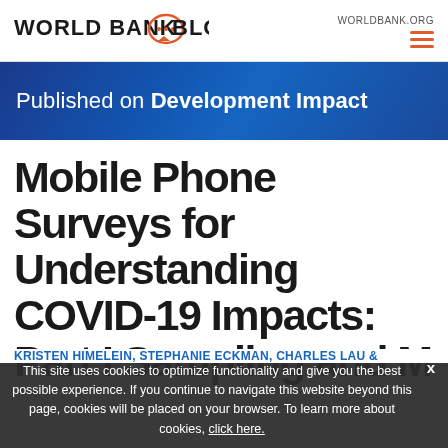WORLDBANK.ORG
[Figure (logo): World Bank Blogs logo with speech bubble icon containing dots]
Published on Development Impact
Mobile Phone Surveys for Understanding COVID-19 Impacts: Part I Sampling and More
This site uses cookies to optimize functionality and give you the best possible experience. If you continue to navigate this website beyond this page, cookies will be placed on your browser. To learn more about cookies, click here.
KRISTEN HIMELEIN, STEPHANIE ECKMAN, CHARLES LAU &